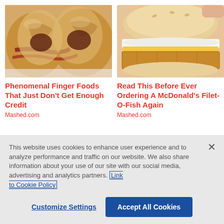[Figure (photo): Close-up photo of bacon-wrapped crescent roll finger foods on a white surface]
Phenomenal Finger Foods That Just Don't Get Enough Credit
Mashed.com
[Figure (photo): Close-up photo of a McDonald's Filet-O-Fish sandwich being held by a hand]
Read This Before Ever Ordering A McDonald's Filet-O-Fish Again
Mashed.com
This website uses cookies to enhance user experience and to analyze performance and traffic on our website. We also share information about your use of our site with our social media, advertising and analytics partners. Link to Cookie Policy
Customize Settings
Accept All Cookies